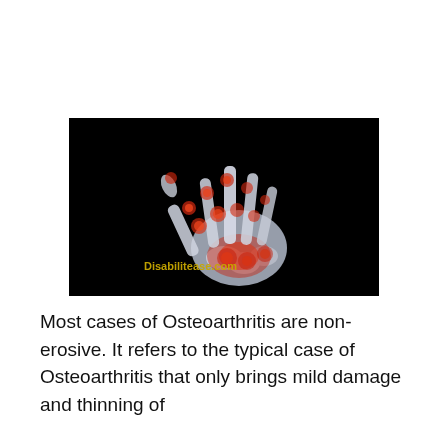[Figure (photo): X-ray image of a human hand on black background with red highlighted areas at the joints indicating inflammation or arthritis. Text 'Disabilitease.com' in yellow/gold appears at the lower left of the image.]
Most cases of Osteoarthritis are non-erosive. It refers to the typical case of Osteoarthritis that only brings mild damage and thinning of